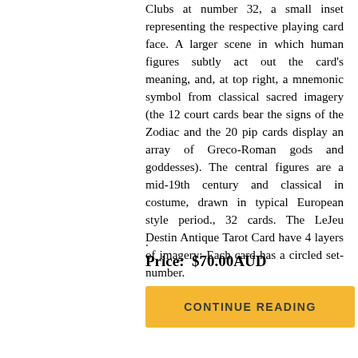Clubs at number 32, a small inset representing the respective playing card face. A larger scene in which human figures subtly act out the card's meaning, and, at top right, a mnemonic symbol from classical sacred imagery (the 12 court cards bear the signs of the Zodiac and the 20 pip cards display an array of Greco-Roman gods and goddesses). The central figures are a mid-19th century and classical in costume, drawn in typical European style period., 32 cards. The LeJeu Destin Antique Tarot Card have 4 layers of imagery: Each card has a circled set-number.
.
Price:  $70.00AUD
CONTINUE READING